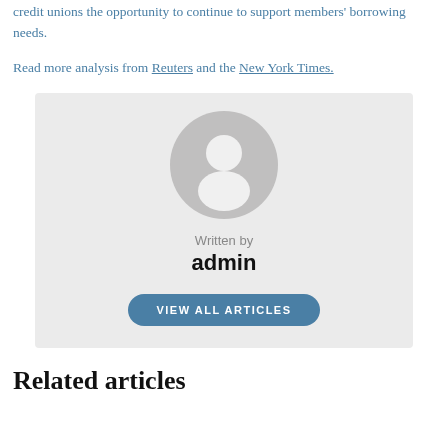credit unions the opportunity to continue to support members' borrowing needs.
Read more analysis from Reuters and the New York Times.
[Figure (illustration): Author profile box with grey avatar icon, 'Written by' label, author name 'admin', and a 'VIEW ALL ARTICLES' button]
Related articles